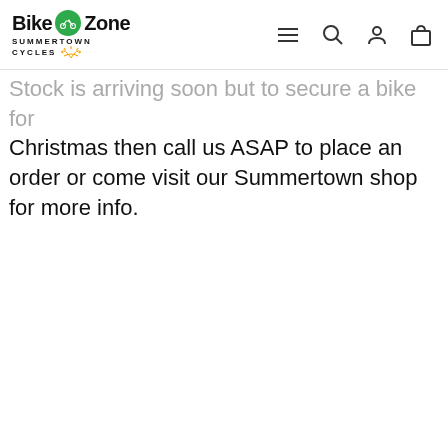[Figure (logo): Bike Zone Summertown Cycles logo with green circle bicycle icon and yellow sun graphic]
Stock is arriving soon but to secure a bike for Christmas then call us ASAP to place an order or come visit our Summertown shop for more info.